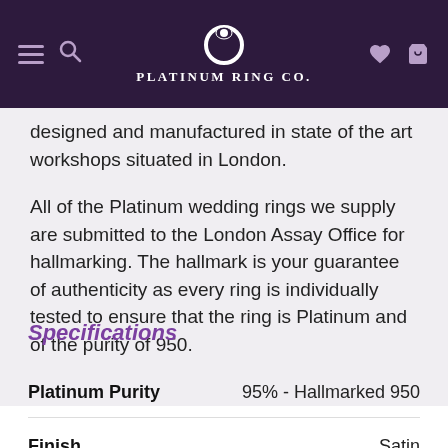Platinum Ring Co.
designed and manufactured in state of the art workshops situated in London.
All of the Platinum wedding rings we supply are submitted to the London Assay Office for hallmarking. The hallmark is your guarantee of authenticity as every ring is individually tested to ensure that the ring is Platinum and of the purity of 950.
Specifications
| Specification | Value |
| --- | --- |
| Platinum Purity | 95% - Hallmarked 950 |
| Finish | Satin |